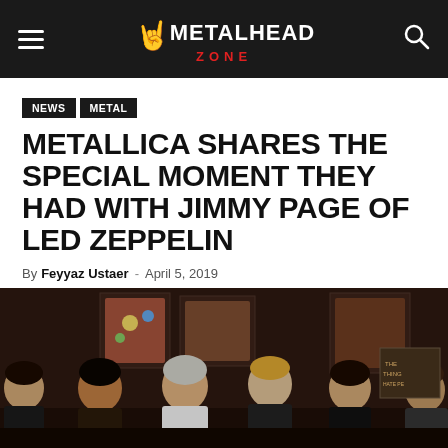METALHEAD ZONE
NEWS   METAL
METALLICA SHARES THE SPECIAL MOMENT THEY HAD WITH JIMMY PAGE OF LED ZEPPELIN
By Feyyaz Ustaer - April 5, 2019
[Figure (photo): Group photo of Metallica members with Jimmy Page in what appears to be a bar or restaurant setting. Several people posing together for the camera.]